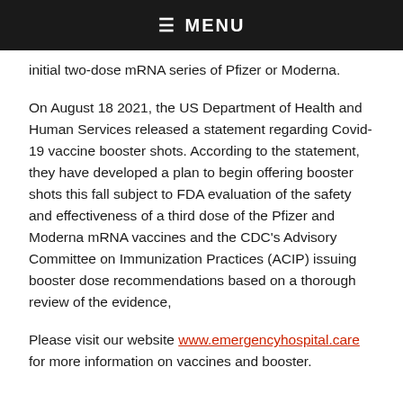≡ MENU
initial two-dose mRNA series of Pfizer or Moderna.
On August 18 2021, the US Department of Health and Human Services released a statement regarding Covid-19 vaccine booster shots. According to the statement, they have developed a plan to begin offering booster shots this fall subject to FDA evaluation of the safety and effectiveness of a third dose of the Pfizer and Moderna mRNA vaccines and the CDC's Advisory Committee on Immunization Practices (ACIP) issuing booster dose recommendations based on a thorough review of the evidence,
Please visit our website www.emergencyhospital.care for more information on vaccines and booster.